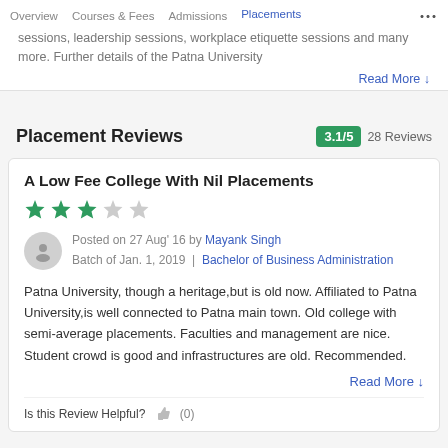Overview | Courses & Fees | Admissions | Placements | ...
sessions, leadership sessions, workplace etiquette sessions and many more. Further details of the Patna University
Read More ↓
Placement Reviews
3.1/5  28 Reviews
A Low Fee College With Nil Placements
★★★☆☆ (3 out of 5 stars)
Posted on 27 Aug' 16 by Mayank Singh
Batch of Jan. 1, 2019 | Bachelor of Business Administration
Patna University, though a heritage,but is old now. Affiliated to Patna University,is well connected to Patna main town. Old college with semi-average placements. Faculties and management are nice. Student crowd is good and infrastructures are old. Recommended.
Read More ↓
Is this Review Helpful? 👍 (0)